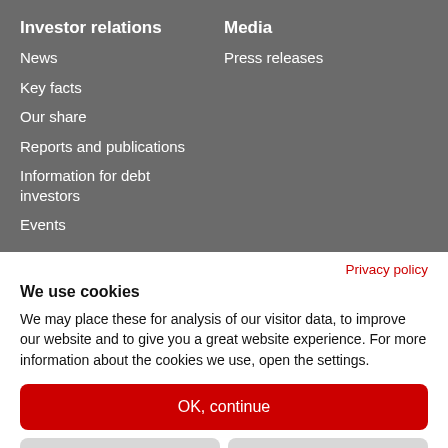Investor relations
News
Key facts
Our share
Reports and publications
Information for debt investors
Events
Media
Press releases
Privacy policy
We use cookies
We may place these for analysis of our visitor data, to improve our website and to give you a great website experience. For more information about the cookies we use, open the settings.
OK, continue
Deny
No, adjust